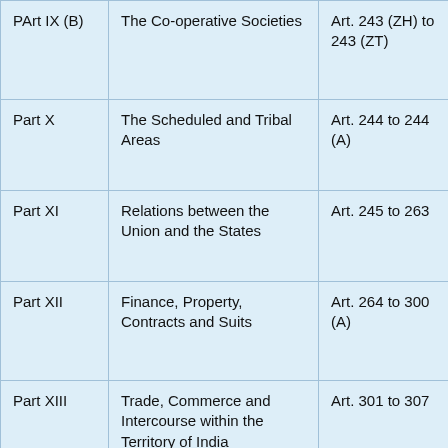| PArt IX (B) | The Co-operative Societies | Art. 243 (ZH) to 243 (ZT) |
| Part X | The Scheduled and Tribal Areas | Art. 244 to 244 (A) |
| Part XI | Relations between the Union and the States | Art. 245 to 263 |
| Part XII | Finance, Property, Contracts and Suits | Art. 264 to 300 (A) |
| Part XIII | Trade, Commerce and Intercourse within the Territory of India | Art. 301 to 307 |
| Part XIV | Services under the Union and the States | Art. 308 to 323 |
| Part | Tribunals | Art. 323 (A) to 323 |